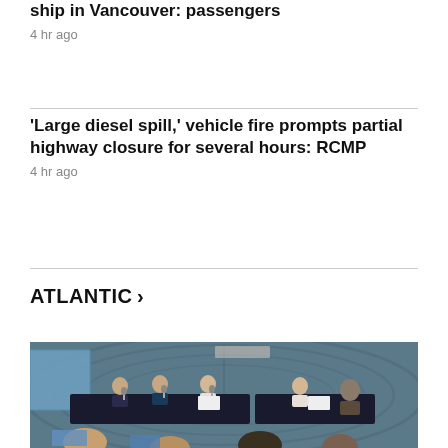ship in Vancouver: passengers
4 hr ago
'Large diesel spill,' vehicle fire prompts partial highway closure for several hours: RCMP
4 hr ago
ATLANTIC >
[Figure (photo): Conference room scene with panelists seated at a draped table and audience members visible in foreground, teal/grey backdrop behind panelists]